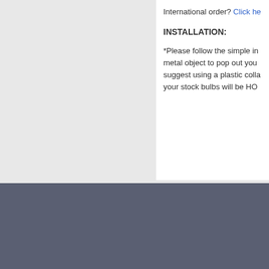International order? Click he
INSTALLATION:
*Please follow the simple in metal object to pop out you suggest using a plastic colla your stock bulbs will be HO
Mailing List
Enter your e-mail address to receive our newsletter
Home | About | Why LED? | Terms and Conditions | Privacy